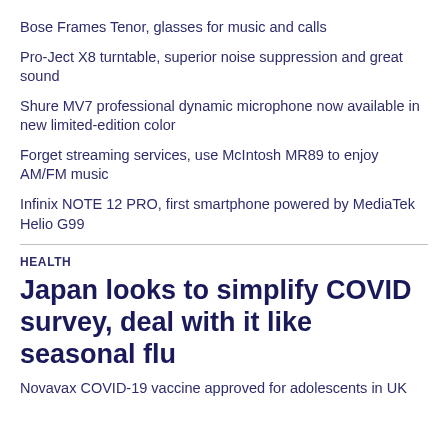Bose Frames Tenor, glasses for music and calls
Pro-Ject X8 turntable, superior noise suppression and great sound
Shure MV7 professional dynamic microphone now available in new limited-edition color
Forget streaming services, use McIntosh MR89 to enjoy AM/FM music
Infinix NOTE 12 PRO, first smartphone powered by MediaTek Helio G99
HEALTH
Japan looks to simplify COVID survey, deal with it like seasonal flu
Novavax COVID-19 vaccine approved for adolescents in UK